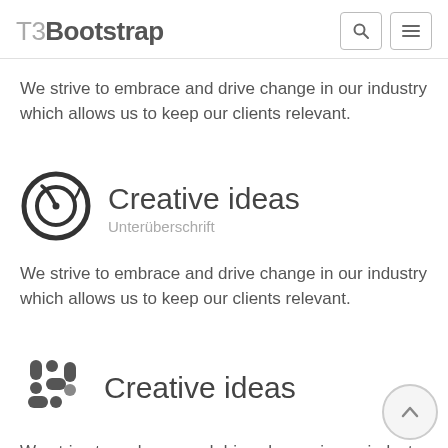T3Bootstrap
We strive to embrace and drive change in our industry which allows us to keep our clients relevant.
[Figure (illustration): Circular speedometer/dashboard icon in dark gray]
Creative ideas
Unterüberschrift
We strive to embrace and drive change in our industry which allows us to keep our clients relevant.
[Figure (logo): Slack-style four-block plus icon in dark gray]
Creative ideas
We strive to embrace and drive change in our industry